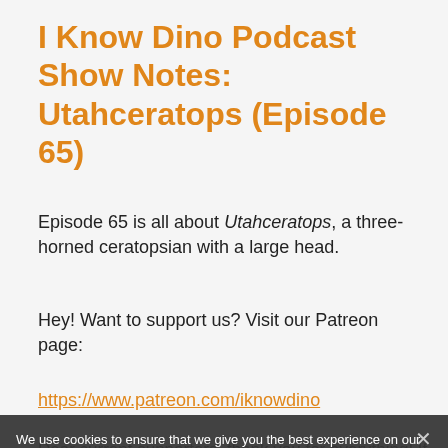I Know Dino Podcast Show Notes: Utahceratops (Episode 65)
Episode 65 is all about Utahceratops, a three-horned ceratopsian with a large head.
Hey! Want to support us? Visit our Patreon page:
https://www.patreon.com/iknowdino
Dear current supporters, thank you for everything! If you have any ideas on how we can make I Know Dino even better, let us know!
We use cookies to ensure that we give you the best experience on our website. If you continue to use this site we will assume that you are happy with it.
Ok
You can listen to our free podcast, with all